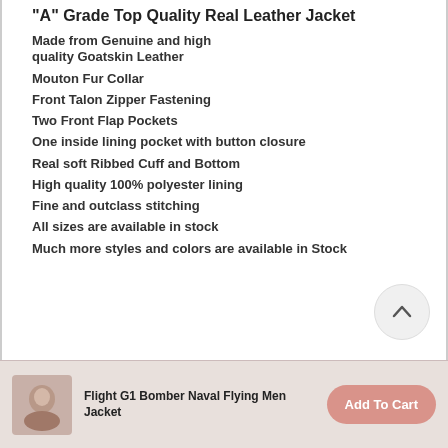"A" Grade Top Quality Real Leather Jacket
Made from Genuine and high quality Goatskin Leather
Mouton Fur Collar
Front Talon Zipper Fastening
Two Front Flap Pockets
One inside lining pocket with button closure
Real soft Ribbed Cuff and Bottom
High quality 100% polyester lining
Fine and outclass stitching
All sizes are available in stock
Much more styles and colors are available in Stock
Flight G1 Bomber Naval Flying Men Jacket | Add To Cart